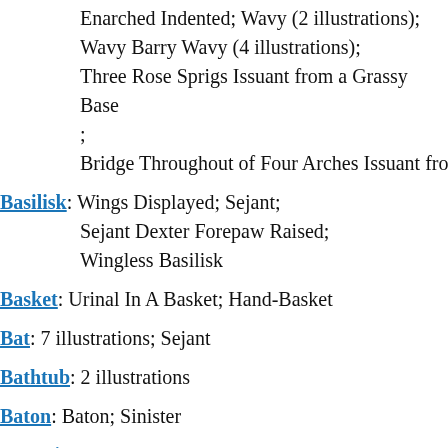Enarched Indented; Wavy (2 illustrations); Wavy Barry Wavy (4 illustrations); Three Rose Sprigs Issuant from a Grassy Base; Bridge Throughout of Four Arches Issuant from
Basilisk: Wings Displayed; Sejant; Sejant Dexter Forepaw Raised; Wingless Basilisk
Basket: Urinal In A Basket; Hand-Basket
Bat: 7 illustrations; Sejant
Bathtub: 2 illustrations
Baton: Baton; Sinister
Battering Ram: 2 illustrations
Battle Axe: Bardiche Axe; Pole Axe (3 illustrations); Sparth Axe